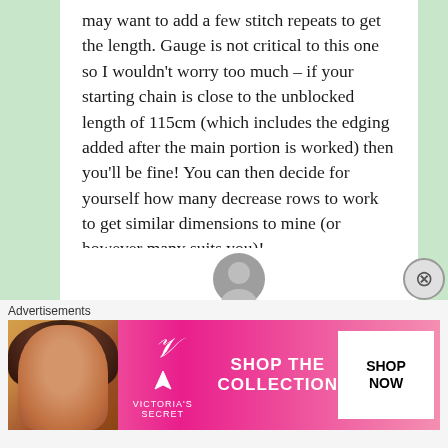may want to add a few stitch repeats to get the length. Gauge is not critical to this one so I wouldn't worry too much – if your starting chain is close to the unblocked length of 115cm (which includes the edging added after the main portion is worked) then you'll be fine! You can then decide for yourself how many decrease rows to work to get similar dimensions to mine (or however many suits you)!
[Figure (photo): Partial view of user avatar circle, grey circular profile image placeholder]
Advertisements
[Figure (photo): Victoria's Secret advertisement banner with a woman model, VS logo, text SHOP THE COLLECTION, and a white SHOP NOW button]